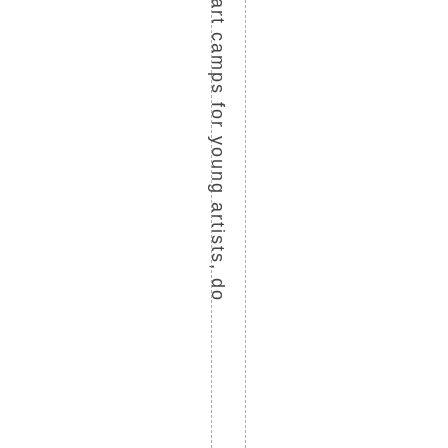art camps for young artists, do